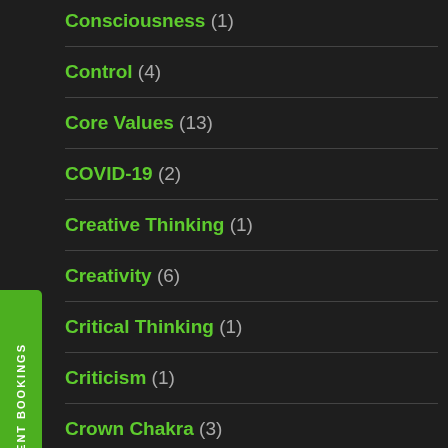Consciousness (1)
Control (4)
Core Values (13)
COVID-19 (2)
Creative Thinking (1)
Creativity (6)
Critical Thinking (1)
Criticism (1)
Crown Chakra (3)
Decision Making (1)
Depression (20)